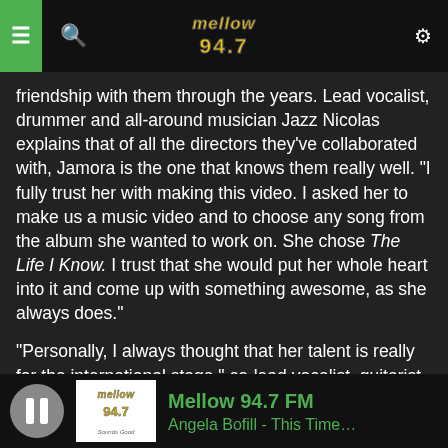Mellow 94.7 — navigation bar with hamburger menu, search, logo, settings
friendship with them through the years. Lead vocalist, drummer and all-around musician Jazz Nicolas explains that of all the directors they've collaborated with, Jamora is the one that knows them really well. “I fully trust her with making this video. I asked her to make us a music video and to choose any song from the album she wanted to work on. She chose The Life I Know. I trust that she would put her whole heart into it and come up with something awesome, as she always does.”
“Personally, I always thought that her talent is really for the international stage,” co-lead vocalist, guitarist, and multi-instrumentalist Jugs Jugueta speaks fondly of Jamora.
Mellow 94.7 FM | Angela Bofill - This Time…